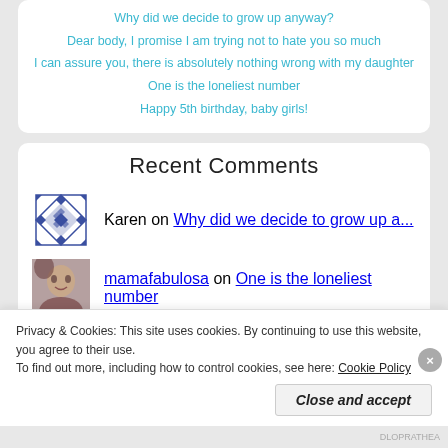Why did we decide to grow up anyway?
Dear body, I promise I am trying not to hate you so much
I can assure you, there is absolutely nothing wrong with my daughter
One is the loneliest number
Happy 5th birthday, baby girls!
Recent Comments
Karen on Why did we decide to grow up a...
mamafabulosa on One is the loneliest number
Ashley Bergris on One is the loneliest number
Privacy & Cookies: This site uses cookies. By continuing to use this website, you agree to their use. To find out more, including how to control cookies, see here: Cookie Policy
Close and accept